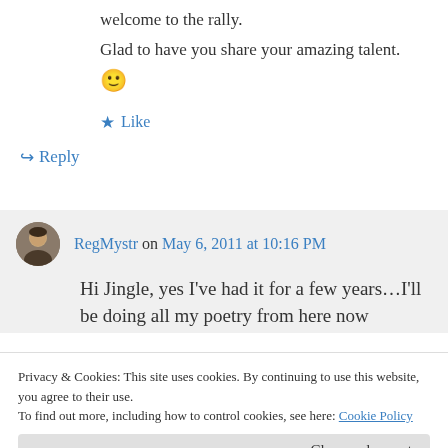welcome to the rally.
Glad to have you share your amazing talent.
🙂
★ Like
↪ Reply
RegMystr on May 6, 2011 at 10:16 PM
Hi Jingle, yes I've had it for a few years…I'll be doing all my poetry from here now
Privacy & Cookies: This site uses cookies. By continuing to use this website, you agree to their use.
To find out more, including how to control cookies, see here: Cookie Policy
Close and accept